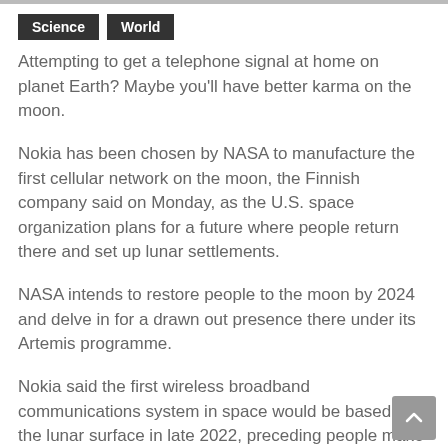Science
World
Attempting to get a telephone signal at home on planet Earth? Maybe you'll have better karma on the moon.
Nokia has been chosen by NASA to manufacture the first cellular network on the moon, the Finnish company said on Monday, as the U.S. space organization plans for a future where people return there and set up lunar settlements.
NASA intends to restore people to the moon by 2024 and delve in for a drawn out presence there under its Artemis programme.
Nokia said the first wireless broadband communications system in space would be based on the lunar surface in late 2022, preceding people make it back there.